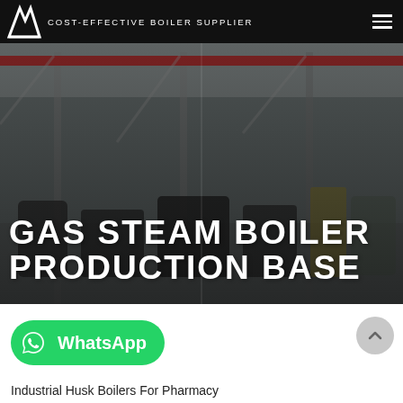COST-EFFECTIVE BOILER SUPPLIER
[Figure (photo): Industrial boiler manufacturing facility interior with overhead crane, red beam, and gas steam boilers on the production floor. Text overlay reads 'GAS STEAM BOILER PRODUCTION BASE'.]
GAS STEAM BOILER PRODUCTION BASE
[Figure (logo): WhatsApp button — green rounded rectangle with WhatsApp icon and 'WhatsApp' label in white]
Industrial Husk Boilers For Pharmacy